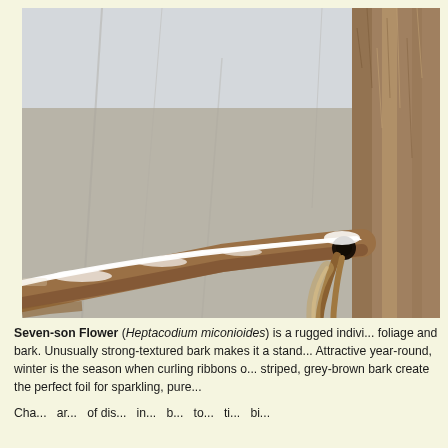[Figure (photo): Close-up photograph of snow-covered tree branches and bark in winter. Shows the textured, peeling grey-brown bark of a Seven-son Flower (Heptacodium miconioides) shrub with snow resting on the branches. The background is a blurred grey-white winter sky with bare branches visible.]
Seven-son Flower (Heptacodium miconioides) is a rugged indivi... foliage and bark. Unusually strong-textured bark makes it a stand... Attractive year-round, winter is the season when curling ribbons o... striped, grey-brown bark create the perfect foil for sparkling, pure...
Cha... ar... of dis... in... b... to... ti... bi...